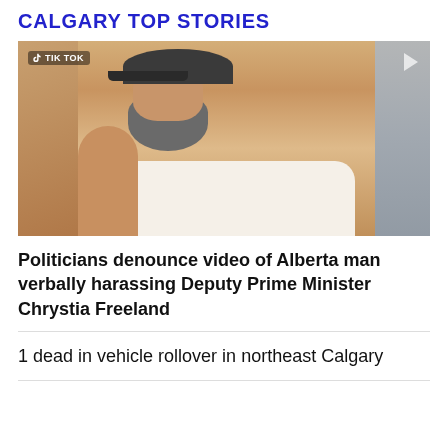CALGARY TOP STORIES
[Figure (screenshot): TikTok video screenshot showing a bearded man in a white tank top and dark cap, appearing to verbally confront someone in an indoor setting. A blurred figure is visible on the right side of the frame.]
Politicians denounce video of Alberta man verbally harassing Deputy Prime Minister Chrystia Freeland
1 dead in vehicle rollover in northeast Calgary